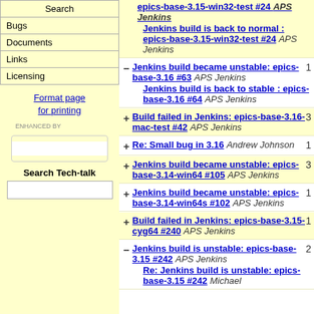Search
Bugs
Documents
Links
Licensing
Format page for printing
ENHANCED BY [search box]
Search Tech-talk
Jenkins build is back to normal : epics-base-3.15-win32-test #24 APS Jenkins
Jenkins build became unstable: epics-base-3.16 #63 APS Jenkins | Jenkins build is back to stable : epics-base-3.16 #64 APS Jenkins | count: 1
Build failed in Jenkins: epics-base-3.16-mac-test #42 APS Jenkins | count: 3
Re: Small bug in 3.16 Andrew Johnson | count: 1
Jenkins build became unstable: epics-base-3.14-win64 #105 APS Jenkins | count: 3
Jenkins build became unstable: epics-base-3.14-win64s #102 APS Jenkins | count: 1
Build failed in Jenkins: epics-base-3.15-cyg64 #240 APS Jenkins | count: 1
Jenkins build is unstable: epics-base-3.15 #242 APS Jenkins | Re: Jenkins build is unstable: epics-base-3.15 #242 Michael | count: 2